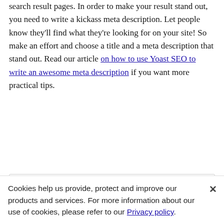You want people to click on your results in the search result pages. In order to make your result stand out, you need to write a kickass meta description. Let people know they'll find what they're looking for on your site! So make an effort and choose a title and a meta description that stand out. Read our article on how to use Yoast SEO to write an awesome meta description if you want more practical tips.
[Figure (screenshot): Yoast SEO Premium plugin panel showing tabs: SEO (green dot), Readability (orange dot), Social, Advanced, Add-ons, and a Focus keyphrase field.]
Cookies help us provide, protect and improve our products and services. For more information about our use of cookies, please refer to our Privacy policy.